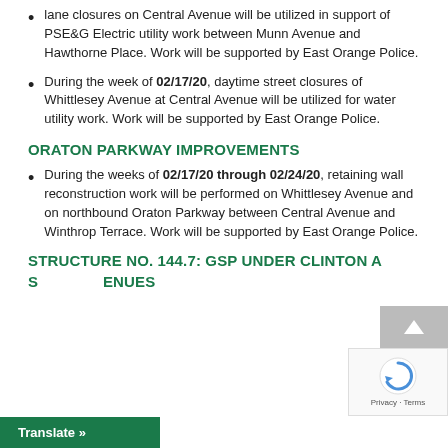lane closures on Central Avenue will be utilized in support of PSE&G Electric utility work between Munn Avenue and Hawthorne Place. Work will be supported by East Orange Police.
During the week of 02/17/20, daytime street closures of Whittlesey Avenue at Central Avenue will be utilized for water utility work. Work will be supported by East Orange Police.
ORATON PARKWAY IMPROVEMENTS
During the weeks of 02/17/20 through 02/24/20, retaining wall reconstruction work will be performed on Whittlesey Avenue and on northbound Oraton Parkway between Central Avenue and Winthrop Terrace. Work will be supported by East Orange Police.
STRUCTURE NO. 144.7: GSP UNDER CLINTON A… S… ENUES